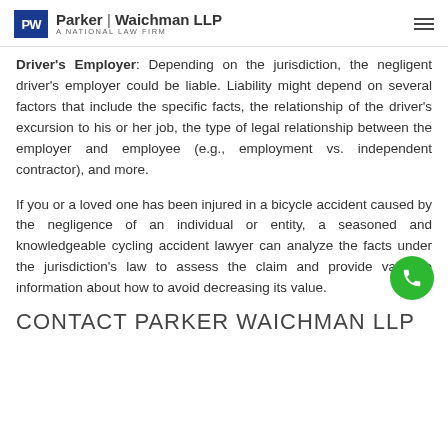Parker | Waichman LLP — A National Law Firm
Driver's Employer: Depending on the jurisdiction, the negligent driver's employer could be liable. Liability might depend on several factors that include the specific facts, the relationship of the driver's excursion to his or her job, the type of legal relationship between the employer and employee (e.g., employment vs. independent contractor), and more.
If you or a loved one has been injured in a bicycle accident caused by the negligence of an individual or entity, a seasoned and knowledgeable cycling accident lawyer can analyze the facts under the jurisdiction's law to assess the claim and provide valuable information about how to avoid decreasing its value.
CONTACT PARKER WAICHMAN LLP